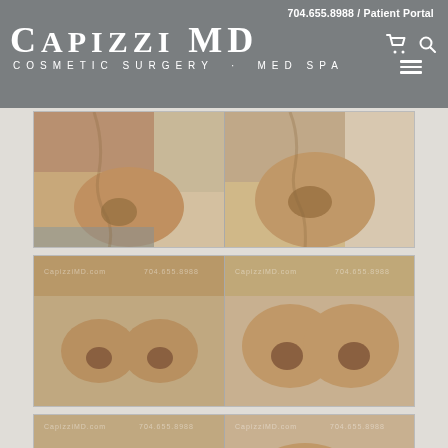704.655.8988 / Patient Portal | CAPIZZI MD COSMETIC SURGERY · MED SPA
[Figure (photo): Before and after side-view photos of breast augmentation patient, lateral profile views]
[Figure (photo): Before and after front-view photos of breast augmentation patient, frontal views with CapizziMD.com watermark]
[Figure (photo): Before and after oblique-view photos of breast augmentation patient, three-quarter angle views with CapizziMD.com watermark]